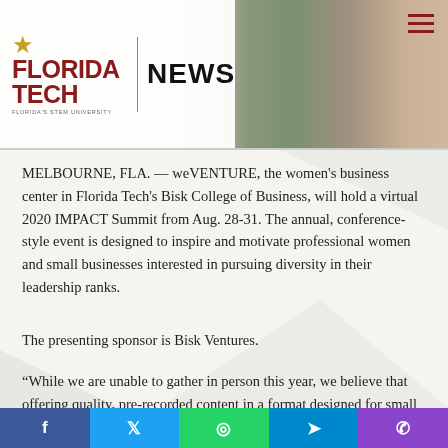FLORIDA TECH NEWS
MELBOURNE, FLA. — weVENTURE, the women's business center in Florida Tech's Bisk College of Business, will hold a virtual 2020 IMPACT Summit from Aug. 28-31.  The annual, conference-style event is designed to inspire and motivate professional women and small businesses interested in pursuing diversity in their leadership ranks.
The presenting sponsor is Bisk Ventures.
“While we are unable to gather in person this year, we believe that offering quality, pre-recorded content in a format designed for small groups to watch together, and facilitating live virtual